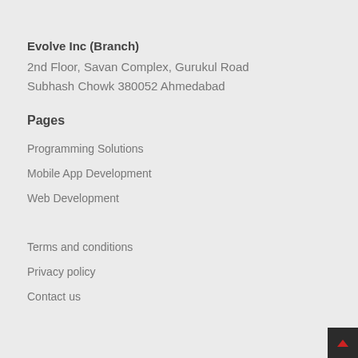Evolve Inc (Branch)
2nd Floor, Savan Complex, Gurukul Road
Subhash Chowk 380052 Ahmedabad
Pages
Programming Solutions
Mobile App Development
Web Development
Terms and conditions
Privacy policy
Contact us